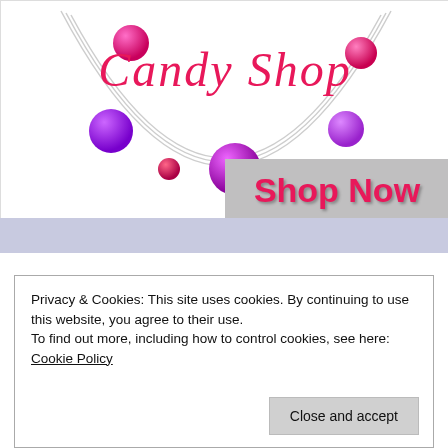[Figure (logo): Candy Shop logo with cursive pink text and a necklace made of purple and pink beads on a circular wire, with a 'Shop Now' button overlay in pink text on gray background]
Privacy & Cookies: This site uses cookies. By continuing to use this website, you agree to their use.
To find out more, including how to control cookies, see here: Cookie Policy
Close and accept